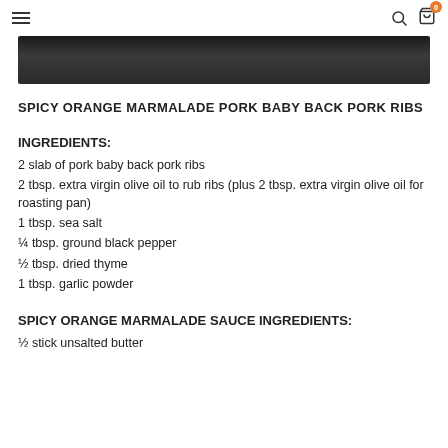≡  🔍  🛒 0
[Figure (photo): Dark food photo strip, partially visible at top of page, showing ribs or grilled meat on dark background]
SPICY ORANGE MARMALADE PORK BABY BACK PORK RIBS
INGREDIENTS:
2 slab of pork baby back pork ribs
2 tbsp. extra virgin olive oil to rub ribs (plus 2 tbsp. extra virgin olive oil for roasting pan)
1 tbsp. sea salt
¼ tbsp. ground black pepper
½ tbsp. dried thyme
1 tbsp. garlic powder
SPICY ORANGE MARMALADE SAUCE INGREDIENTS:
½ stick unsalted butter